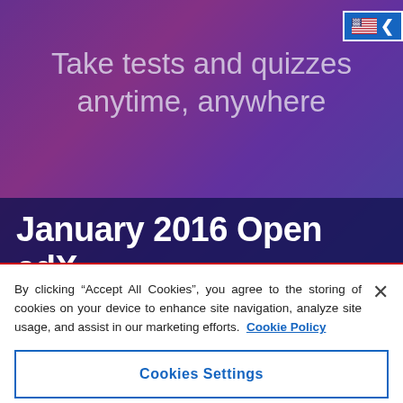[Figure (screenshot): Hero banner with purple/pink gradient background showing a blurred device, with semi-transparent text overlay]
Take tests and quizzes anytime, anywhere
January 2016 Open edX
By clicking “Accept All Cookies”, you agree to the storing of cookies on your device to enhance site navigation, analyze site usage, and assist in our marketing efforts. Cookie Policy
Cookies Settings
Reject All